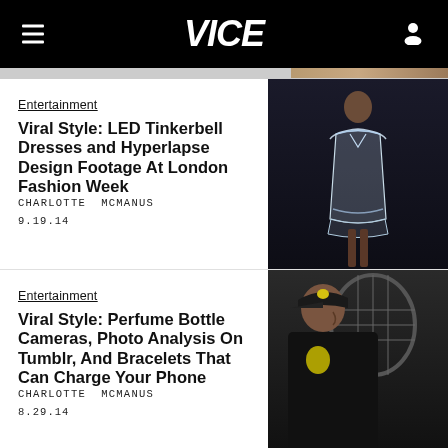VICE
[Figure (screenshot): Top strip — partial image of fashion model in LED dress]
Entertainment
Viral Style: LED Tinkerbell Dresses and Hyperlapse Design Footage At London Fashion Week
CHARLOTTE MCMANUS
9.19.14
[Figure (photo): Photo of a model in a sheer silver/LED dress on a dark runway]
Entertainment
Viral Style: Perfume Bottle Cameras, Photo Analysis On Tumblr, And Bracelets That Can Charge Your Phone
CHARLOTTE MCMANUS
8.29.14
[Figure (photo): Photo of a man in a black Ralph Lauren shirt holding a tennis racket, wearing a cap]